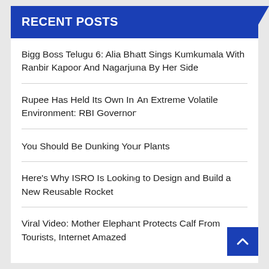RECENT POSTS
Bigg Boss Telugu 6: Alia Bhatt Sings Kumkumala With Ranbir Kapoor And Nagarjuna By Her Side
Rupee Has Held Its Own In An Extreme Volatile Environment: RBI Governor
You Should Be Dunking Your Plants
Here's Why ISRO Is Looking to Design and Build a New Reusable Rocket
Viral Video: Mother Elephant Protects Calf From Tourists, Internet Amazed